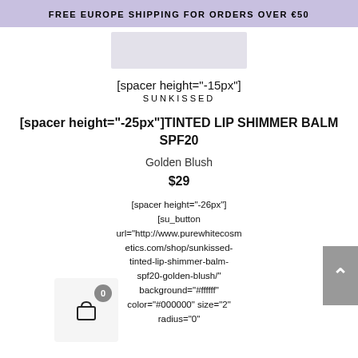FREE EUROPE SHIPPING FOR ORDERS OVER €50
[Figure (photo): Partial product image of a cosmetics item, cropped at top]
[spacer height="-15px"]
SUNKISSED
[spacer height="-25px"]TINTED LIP SHIMMER BALM SPF20
Golden Blush
$29
[spacer height="-26px"]
[su_button url="http://www.purewhitecosmetics.com/shop/sunkissed-tinted-lip-shimmer-balm-spf20-golden-blush/" background="#ffffff" color="#000000" size="2" radius="0"